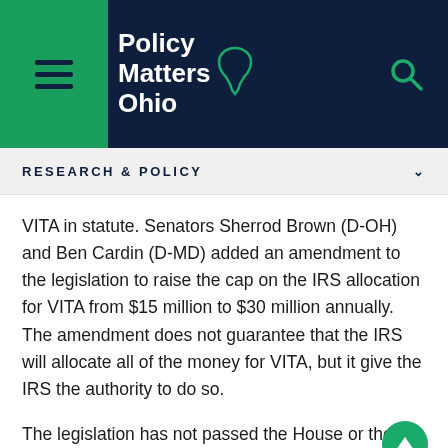[Figure (logo): Policy Matters Ohio logo with hamburger menu icon on green background and search icon on dark navy background]
RESEARCH & POLICY
VITA in statute. Senators Sherrod Brown (D-OH) and Ben Cardin (D-MD) added an amendment to the legislation to raise the cap on the IRS allocation for VITA from $15 million to $30 million annually. The amendment does not guarantee that the IRS will allocate all of the money for VITA, but it give the IRS the authority to do so.
The legislation has not passed the House or the Senate. As this legislation progresses, we may call on you to join other organizations and stakeholders to support advocacy efforts for its